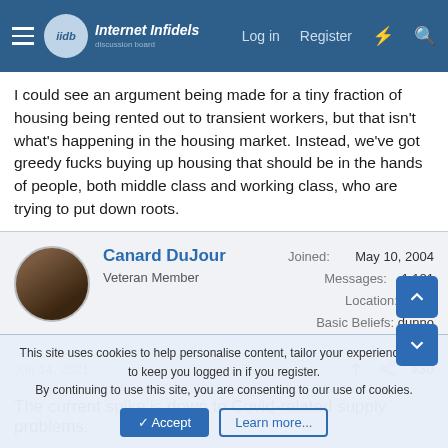Internet Infidels - Log in Register
I could see an argument being made for a tiny fraction of housing being rented out to transient workers, but that isn't what's happening in the housing market. Instead, we've got greedy fucks buying up housing that should be in the hands of people, both middle class and working class, who are trying to put down roots.
Canard DuJour
Veteran Member
Joined: May 10, 2004
Messages: 1,181
Location: UK
Basic Beliefs: dunno
Jun 14, 2021  #30
The current spike is down to Covid-related supply problems.
This site uses cookies to help personalise content, tailor your experience and to keep you logged in if you register.
By continuing to use this site, you are consenting to our use of cookies.